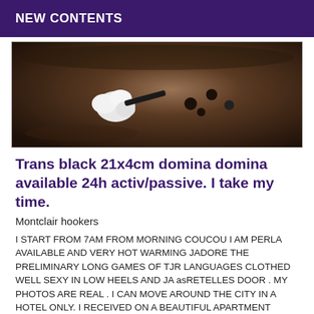NEW CONTENTS
[Figure (photo): Close-up photo of a dark pan or surface with a white fluffy substance and several dark round objects]
Trans black 21x4cm domina domina available 24h activ/passive. I take my time.
Montclair hookers
I START FROM 7AM FROM MORNING COUCOU I AM PERLA AVAILABLE AND VERY HOT WARMING JADORE THE PRELIMINARY LONG GAMES OF TJR LANGUAGES CLOTHED WELL SEXY IN LOW HEELS AND JA asRETELLES DOOR . MY PHOTOS ARE REAL . I CAN MOVE AROUND THE CITY IN A HOTEL ONLY. I RECEIVED ON A BEAUTIFUL APARTMENT